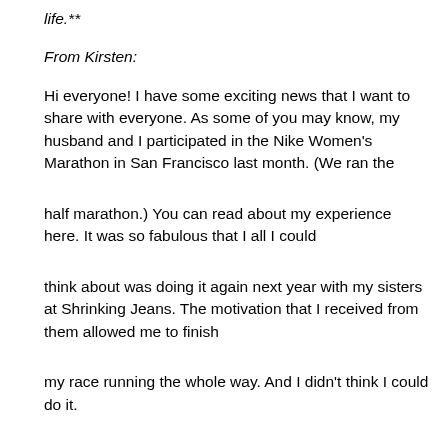life.**
From Kirsten:
Hi everyone!  I have some exciting news that I want to share with everyone.  As some of you may know, my husband and I participated in the Nike Women's Marathon in San Francisco last month. (We ran the
half marathon.) You can read about my experience here. It was so fabulous that I all I could
think about was doing it again next year with my sisters at Shrinking Jeans.  The motivation that I received from them allowed me to finish
my race running the whole way.  And I didn't think I could do it.
The Nike Women's Marathon is sponsored by The Leukemia and Lymphoma Society.  That means that their program Team In Training which helps raise money for LLS while training for an endurance event